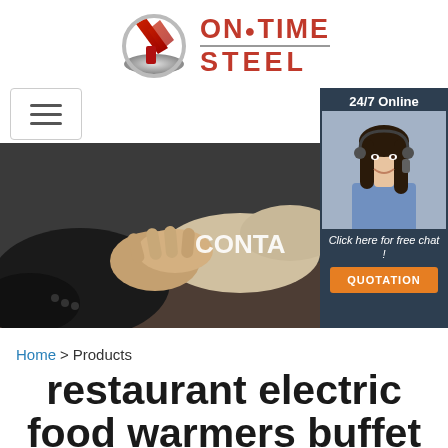[Figure (logo): OnTime Steel company logo with stylized steel/arrow icon and red text]
[Figure (screenshot): Navigation bar with hamburger menu on left and 24/7 online chat widget on right showing female customer service agent, with banner image of two people shaking hands and text CONTA(CT) in background. Chat widget shows 'Click here for free chat!' and orange QUOTATION button.]
Home > Products
restaurant electric food warmers buffet warming tray